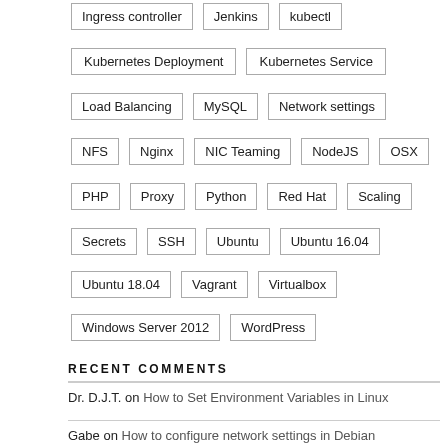Ingress controller
Jenkins
kubectl
Kubernetes Deployment
Kubernetes Service
Load Balancing
MySQL
Network settings
NFS
Nginx
NIC Teaming
NodeJS
OSX
PHP
Proxy
Python
Red Hat
Scaling
Secrets
SSH
Ubuntu
Ubuntu 16.04
Ubuntu 18.04
Vagrant
Virtualbox
Windows Server 2012
WordPress
RECENT COMMENTS
Dr. D.J.T. on How to Set Environment Variables in Linux
Gabe on How to configure network settings in Debian